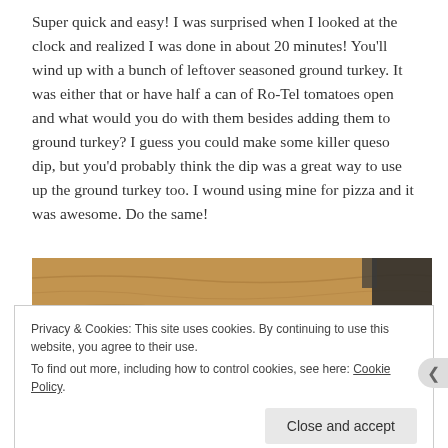Super quick and easy! I was surprised when I looked at the clock and realized I was done in about 20 minutes! You'll wind up with a bunch of leftover seasoned ground turkey. It was either that or have half a can of Ro-Tel tomatoes open and what would you do with them besides adding them to ground turkey? I guess you could make some killer queso dip, but you'd probably think the dip was a great way to use up the ground turkey too. I wound using mine for pizza and it was awesome. Do the same!
[Figure (photo): Photo of a wooden cutting board surface with wood grain visible, partially showing a yellow item (possibly a lemon or pepper) at the bottom. A dark cooking pan is visible in the upper right corner.]
Privacy & Cookies: This site uses cookies. By continuing to use this website, you agree to their use. To find out more, including how to control cookies, see here: Cookie Policy